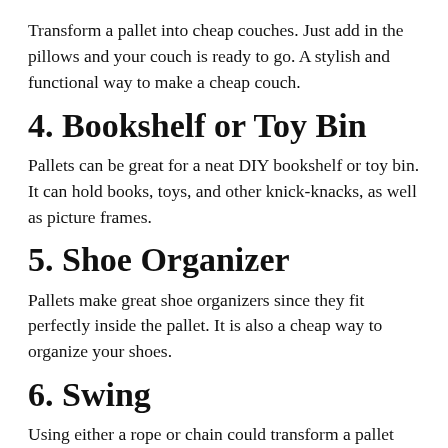Transform a pallet into cheap couches. Just add in the pillows and your couch is ready to go. A stylish and functional way to make a cheap couch.
4. Bookshelf or Toy Bin
Pallets can be great for a neat DIY bookshelf or toy bin. It can hold books, toys, and other knick-knacks, as well as picture frames.
5. Shoe Organizer
Pallets make great shoe organizers since they fit perfectly inside the pallet. It is also a cheap way to organize your shoes.
6. Swing
Using either a rope or chain could transform a pallet into a nice and cozy place to relax on the porch or patio.